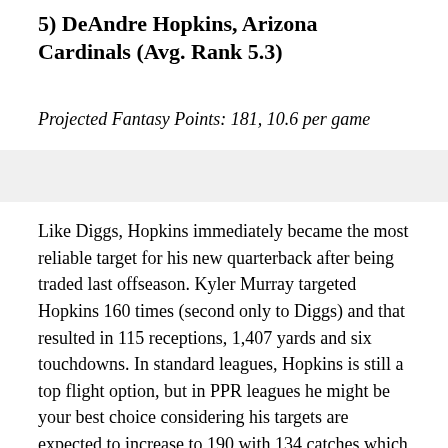5) DeAndre Hopkins, Arizona Cardinals (Avg. Rank 5.3)
Projected Fantasy Points: 181, 10.6 per game
Like Diggs, Hopkins immediately became the most reliable target for his new quarterback after being traded last offseason. Kyler Murray targeted Hopkins 160 times (second only to Diggs) and that resulted in 115 receptions, 1,407 yards and six touchdowns. In standard leagues, Hopkins is still a top flight option, but in PPR leagues he might be your best choice considering his targets are expected to increase to 190 with 134 catches which is the highest projected total for any wide out.